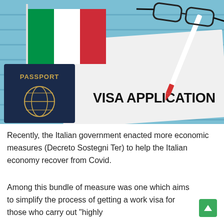[Figure (photo): Photo of an Italian flag, a dark blue passport, a white paper reading 'VISA APPLICATION', a pen, and glasses on a blue wooden surface.]
Recently, the Italian government enacted more economic measures (Decreto Sostegni Ter) to help the Italian economy recover from Covid.
Among this bundle of measure was one which aims to simplify the process of getting a work visa for those who carry out "highly